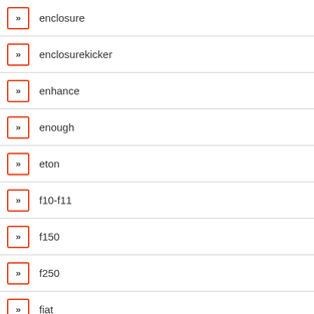enclosure
enclosurekicker
enhance
enough
eton
f10-f11
f150
f250
fiat
final